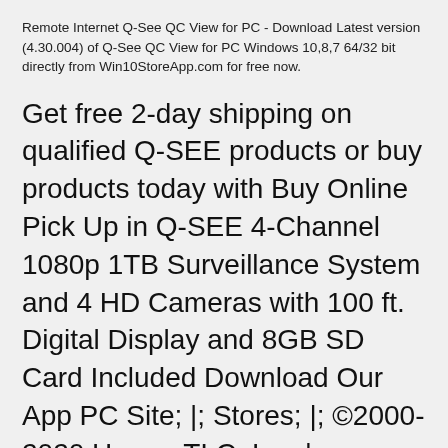Remote Internet Q-See QC View for PC - Download Latest version (4.30.004) of Q-See QC View for PC Windows 10,8,7 64/32 bit directly from Win10StoreApp.com for free now.
Get free 2-day shipping on qualified Q-SEE products or buy products today with Buy Online Pick Up in Q-SEE 4-Channel 1080p 1TB Surveillance System and 4 HD Cameras with 100 ft. Digital Display and 8GB SD Card Included Download Our App PC Site; |; Stores; |; ©2000-2020 Homer TLC, Inc; |; Privacy; |; Terms.